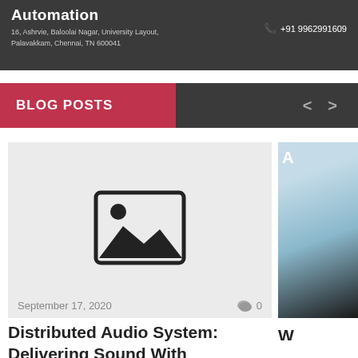Automation
16, Ashrvie, Baloolai Nagar, University Layout, Palavakkam, Chennai, TN 600041
+91 9962991609
BLOG POSTS
[Figure (screenshot): Blog post card with placeholder image thumbnail, date September 17, 2020, comment count 0, title starting Distributed Audio System: Delivering Sound With]
Distributed Audio System: Delivering Sound With
[Figure (photo): Partial second blog post card cut off at right edge, showing partial photo and partial title starting with W and Fo]